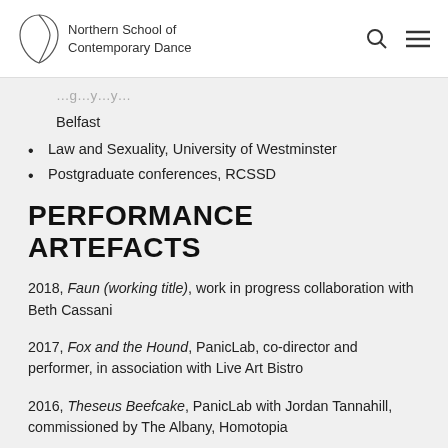Northern School of Contemporary Dance
Belfast
Law and Sexuality, University of Westminster
Postgraduate conferences, RCSSD
PERFORMANCE ARTEFACTS
2018, Faun (working title), work in progress collaboration with Beth Cassani
2017, Fox and the Hound, PanicLab, co-director and performer, in association with Live Art Bistro
2016, Theseus Beefcake, PanicLab with Jordan Tannahill, commissioned by The Albany, Homotopia
2016, Swan Lake II: Dark Waters, PanicLab